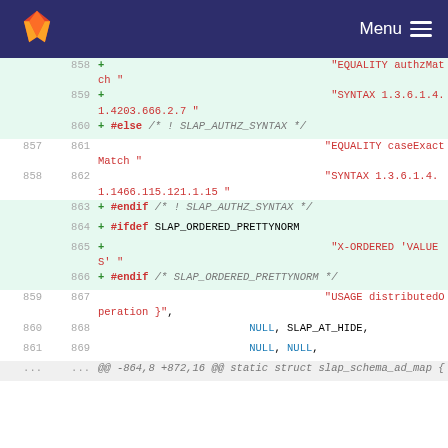GitLab — Menu
[Figure (screenshot): Code diff view showing lines 857-869 of a source file with added lines (green background) containing LDAP schema attribute definitions including EQUALITY, SYNTAX, ifdef/endif preprocessor directives, X-ORDERED VALUES, USAGE distributedOperation, NULL, SLAP_AT_HIDE, and a @@ hunk header for static struct slap_schema_ad_map.]
@@ -864,8 +872,16 @@ static struct slap_schema_ad_map {